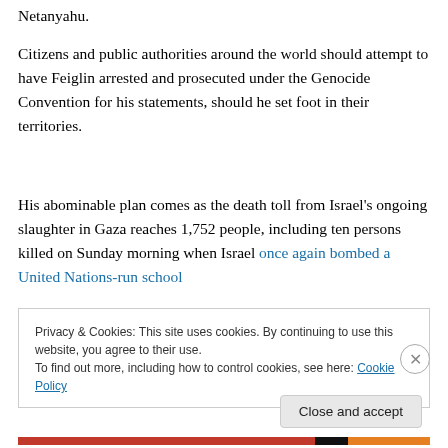Netanyahu.
Citizens and public authorities around the world should attempt to have Feiglin arrested and prosecuted under the Genocide Convention for his statements, should he set foot in their territories.
His abominable plan comes as the death toll from Israel's ongoing slaughter in Gaza reaches 1,752 people, including ten persons killed on Sunday morning when Israel once again bombed a United Nations-run school
Privacy & Cookies: This site uses cookies. By continuing to use this website, you agree to their use.
To find out more, including how to control cookies, see here: Cookie Policy
Close and accept